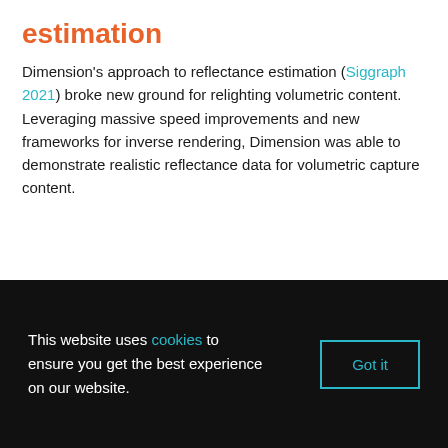estimation
Dimension's approach to reflectance estimation (Siggraph 2021) broke new ground for relighting volumetric content. Leveraging massive speed improvements and new frameworks for inverse rendering, Dimension was able to demonstrate realistic reflectance data for volumetric capture content.
This website uses cookies to ensure you get the best experience on our website.